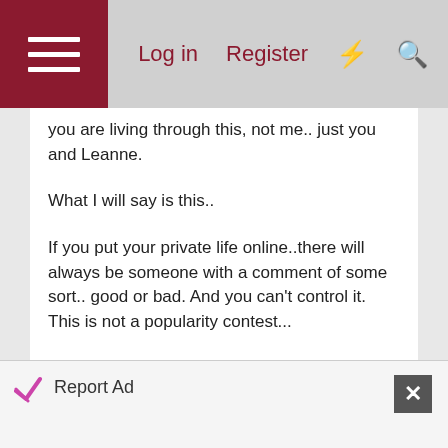Log in  Register
you are living through this, not me.. just you and Leanne.

What I will say is this..

If you put your private life online..there will always be someone with a comment of some sort.. good or bad. And you can't control it. This is not a popularity contest...

It wasn't a "terrible exchange of words".. it was another persons view on what you had shared online. And they had issues with your commentary.
Report Ad